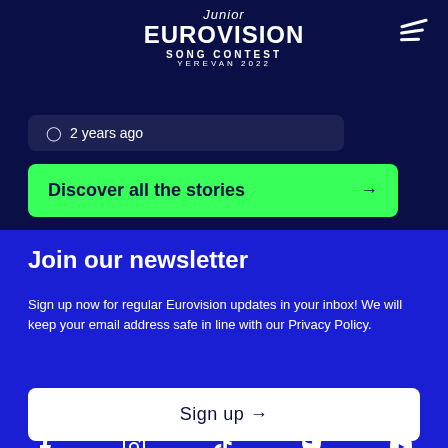[Figure (logo): Junior Eurovision Song Contest Yerevan 2022 logo in white text on dark navy background]
2 years ago
Discover all the stories →
Join our newsletter
Sign up now for regular Eurovision updates in your inbox! We will keep your email address safe in line with our Privacy Policy.
Sign up →
[Figure (illustration): Social media icons row: Facebook, Instagram, TikTok, Twitter/X, YouTube]